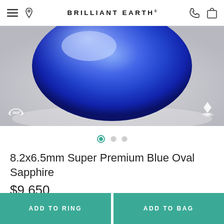BRILLIANT EARTH
[Figure (photo): Close-up photograph of a brilliant blue oval sapphire gemstone against a gray background, with a 360° rotation icon in the bottom-left corner and a Brilliant Earth logo icon in the bottom-right corner. Three carousel navigation dots are visible below the image.]
8.2x6.5mm Super Premium Blue Oval Sapphire
$9,650
This 2.51 Carat 8.2 x 6.5 mm Blue Oval Sapphire has been